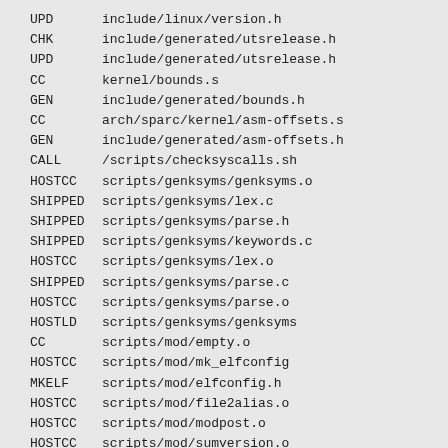UPD    include/linux/version.h
CHK    include/generated/utsrelease.h
UPD    include/generated/utsrelease.h
CC     kernel/bounds.s
GEN    include/generated/bounds.h
CC     arch/sparc/kernel/asm-offsets.s
GEN    include/generated/asm-offsets.h
CALL   /scripts/checksyscalls.sh
HOSTCC scripts/genksyms/genksyms.o
SHIPPED scripts/genksyms/lex.c
SHIPPED scripts/genksyms/parse.h
SHIPPED scripts/genksyms/keywords.c
HOSTCC scripts/genksyms/lex.o
SHIPPED scripts/genksyms/parse.c
HOSTCC scripts/genksyms/parse.o
HOSTLD scripts/genksyms/genksyms
CC     scripts/mod/empty.o
HOSTCC scripts/mod/mk_elfconfig
MKELF  scripts/mod/elfconfig.h
HOSTCC scripts/mod/file2alias.o
HOSTCC scripts/mod/modpost.o
HOSTCC scripts/mod/sumversion.o
HOSTLD scripts/mod/modpost
HOSTCC scripts/kallsyms
HOSTCC scripts/pnmtologo
HOSTCC scripts/conmakehash
CC     init/main.o